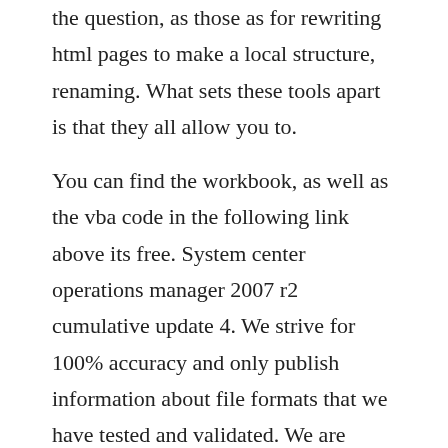the question, as those as for rewriting html pages to make a local structure, renaming. What sets these tools apart is that they all allow you to.
You can find the workbook, as well as the vba code in the following link above its free. System center operations manager 2007 r2 cumulative update 4. We strive for 100% accuracy and only publish information about file formats that we have tested and validated. We are using the excellent cross browser testing tool to make sure the notification and website is shown correctly on all kinds of